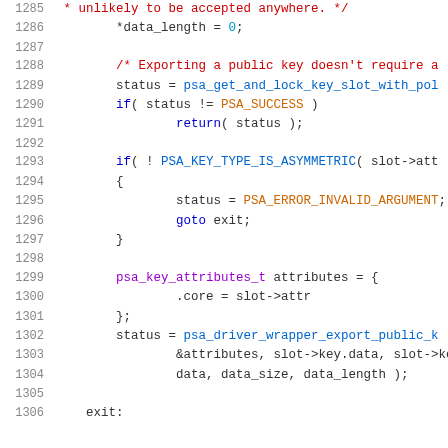[Figure (screenshot): Source code listing (C language) showing lines 1285-1306 of a cryptographic key export function. Lines include comments in red, keywords in blue, types in purple, and identifiers in dark/teal.]